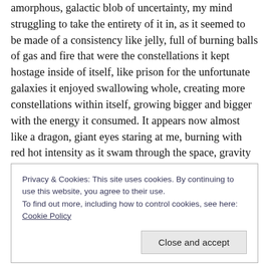amorphous, galactic blob of uncertainty, my mind struggling to take the entirety of it in, as it seemed to be made of a consistency like jelly, full of burning balls of gas and fire that were the constellations it kept hostage inside of itself, like prison for the unfortunate galaxies it enjoyed swallowing whole, creating more constellations within itself, growing bigger and bigger with the energy it consumed. It appears now almost like a dragon, giant eyes staring at me, burning with red hot intensity as it swam through the space, gravity not an obstacle as it floated through the space-dust, meteorites like mere
Privacy & Cookies: This site uses cookies. By continuing to use this website, you agree to their use.
To find out more, including how to control cookies, see here: Cookie Policy